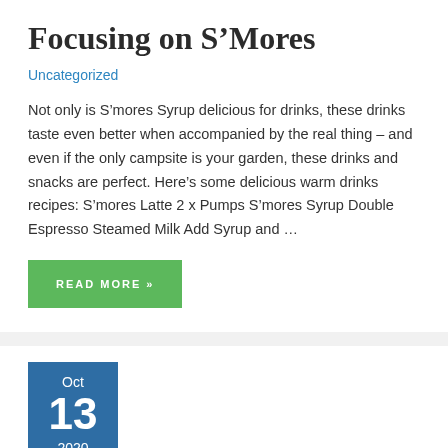Focusing on S’Mores
Uncategorized
Not only is S’mores Syrup delicious for drinks, these drinks taste even better when accompanied by the real thing – and even if the only campsite is your garden, these drinks and snacks are perfect. Here’s some delicious warm drinks recipes: S’mores Latte 2 x Pumps S’mores Syrup Double Espresso Steamed Milk Add Syrup and …
READ MORE »
Oct 13 2020